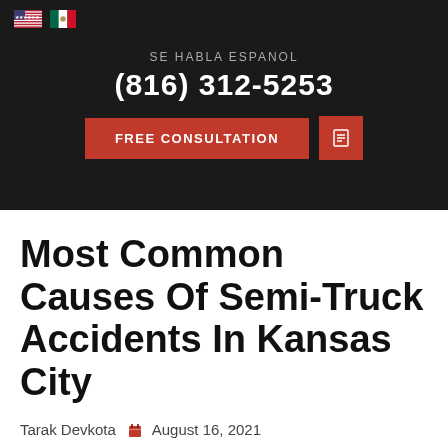SE HABLA ESPANOL | (816) 312-5253 | FREE CONSULTATION
Most Common Causes Of Semi-Truck Accidents In Kansas City
Tarak Devkota  August 16, 2021